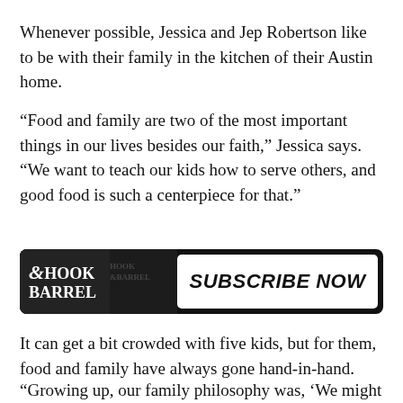Whenever possible, Jessica and Jep Robertson like to be with their family in the kitchen of their Austin home.
“Food and family are two of the most important things in our lives besides our faith,” Jessica says. “We want to teach our kids how to serve others, and good food is such a centerpiece for that.”
[Figure (other): Hook & Barrel magazine advertisement banner with 'SUBSCRIBE NOW' call to action]
It can get a bit crowded with five kids, but for them, food and family have always gone hand-in-hand.
“Growing up, our family philosophy was, ‘We might not